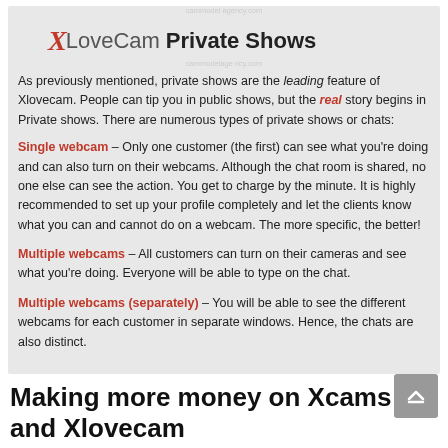[Figure (logo): XLoveCam Private Shows logo with red X, gray LoveCam text, and bold black Private Shows text]
As previously mentioned, private shows are the leading feature of Xlovecam. People can tip you in public shows, but the real story begins in Private shows. There are numerous types of private shows or chats:
Single webcam – Only one customer (the first) can see what you're doing and can also turn on their webcams. Although the chat room is shared, no one else can see the action. You get to charge by the minute. It is highly recommended to set up your profile completely and let the clients know what you can and cannot do on a webcam. The more specific, the better!
Multiple webcams – All customers can turn on their cameras and see what you're doing. Everyone will be able to type on the chat.
Multiple webcams (separately) – You will be able to see the different webcams for each customer in separate windows. Hence, the chats are also distinct.
Making more money on Xcams and Xlovecam
Apart from the typical private or public shows, a